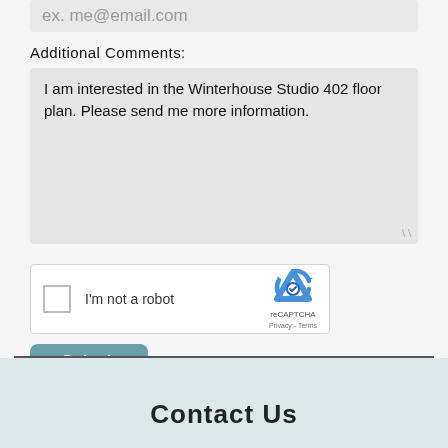ex. me@email.com
Additional Comments:
I am interested in the Winterhouse Studio 402 floor plan. Please send me more information.
[Figure (screenshot): reCAPTCHA widget with checkbox labeled I'm not a robot and reCAPTCHA logo with Privacy and Terms links]
Submit
Contact Us